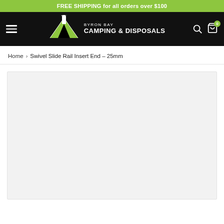FREE SHIPPING for all orders over $100
[Figure (logo): Byron Bay Camping & Disposals logo — tent with lighthouse illustration, white and green on black background, with hamburger menu icon, search icon, and cart icon (badge: 0)]
Home > Swivel Slide Rail Insert End – 25mm
[Figure (photo): Product image placeholder area — light gray background, no product visible yet]